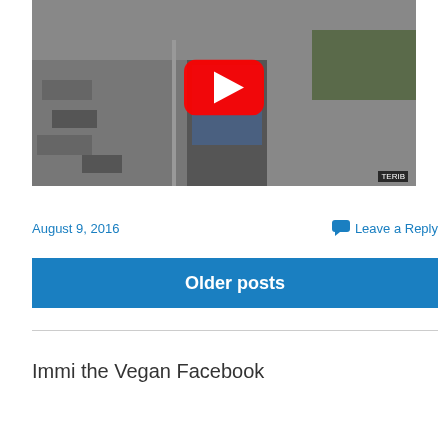[Figure (screenshot): YouTube video thumbnail showing a black and white street scene with a person in a denim jacket in the foreground. A red YouTube play button is overlaid in the center. A small YouTube logo is in the top left corner. A timestamp label appears in the bottom right corner.]
August 9, 2016
Leave a Reply
Older posts
Immi the Vegan Facebook